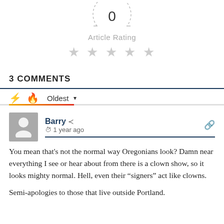[Figure (other): Article rating widget showing '0' in a dashed circle, label 'Article Rating', and five empty/grey stars below]
3 COMMENTS
Oldest ▾
Barry · 1 year ago
You mean that's not the normal way Oregonians look? Damn near everything I see or hear about from there is a clown show, so it looks mighty normal. Hell, even their "signers" act like clowns.

Semi-apologies to those that live outside Portland.